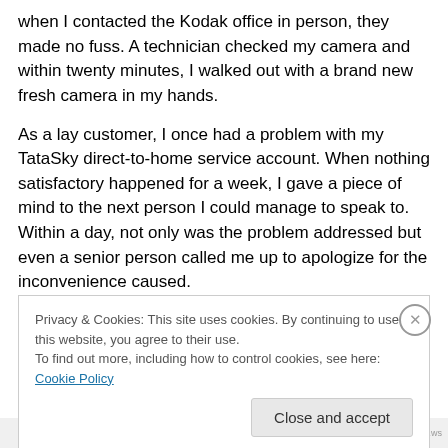when I contacted the Kodak office in person, they made no fuss. A technician checked my camera and within twenty minutes, I walked out with a brand new fresh camera in my hands.
As a lay customer, I once had a problem with my TataSky direct-to-home service account. When nothing satisfactory happened for a week, I gave a piece of mind to the next person I could manage to speak to. Within a day, not only was the problem addressed but even a senior person called me up to apologize for the inconvenience caused.
Privacy & Cookies: This site uses cookies. By continuing to use this website, you agree to their use. To find out more, including how to control cookies, see here: Cookie Policy